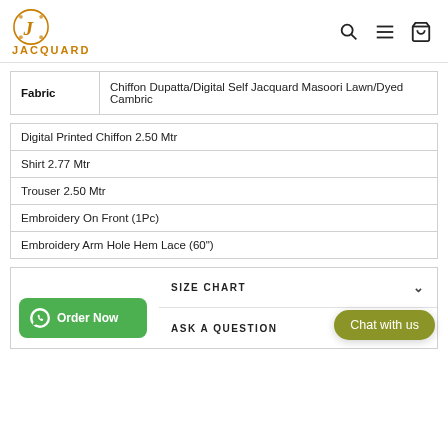JACQUARD
| Fabric |  |
| --- | --- |
| Fabric | Chiffon Dupatta/Digital Self Jacquard Masoori Lawn/Dyed Cambric |
Digital Printed Chiffon 2.50 Mtr
Shirt 2.77 Mtr
Trouser 2.50 Mtr
Embroidery On Front (1Pc)
Embroidery Arm Hole Hem Lace (60")
SIZE CHART
ASK A QUESTION
Order Now
Chat with us